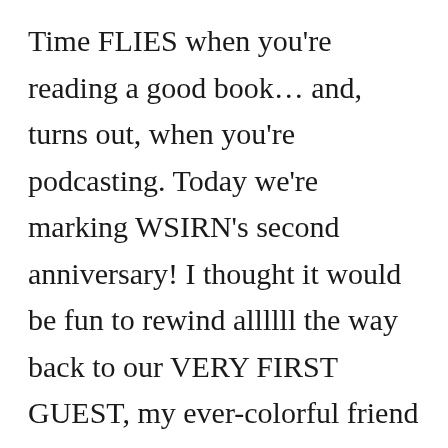Time FLIES when you're reading a good book… and, turns out, when you're podcasting. Today we're marking WSIRN's second anniversary! I thought it would be fun to rewind allllll the way back to our VERY FIRST GUEST, my ever-colorful friend and the co-host of The Popcast: Jamie Golden. Today you'll get to hear some secrets about what I originally had planned for the show (and which of these